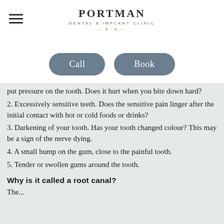Portman Dental & Implant Clinic
Call   Book
put pressure on the tooth. Does it hurt when you bite down hard?
2. Excessively sensitive teeth. Does the sensitive pain linger after the initial contact with hot or cold foods or drinks?
3. Darkening of your tooth. Has your tooth changed colour? This may be a sign of the nerve dying.
4. A small bump on the gum, close to the painful tooth.
5. Tender or swollen gums around the tooth.
Why is it called a root canal?
The...